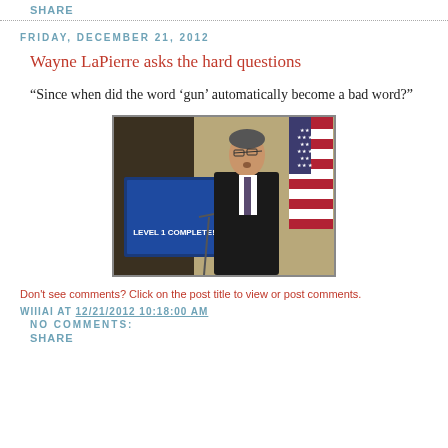SHARE
FRIDAY, DECEMBER 21, 2012
Wayne LaPierre asks the hard questions
“Since when did the word ‘gun’ automatically become a bad word?”
[Figure (photo): Wayne LaPierre speaking at a podium with a sign reading 'LEVEL 1 COMPLETE!' and an American flag in the background]
Don't see comments? Click on the post title to view or post comments.
WIIIAI AT 12/21/2012 10:18:00 AM
NO COMMENTS:
SHARE